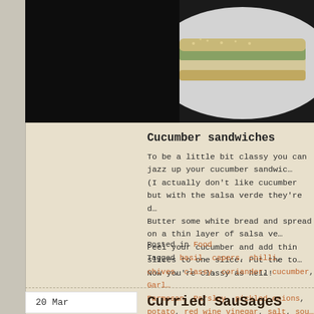[Figure (photo): Photograph of food — appears to be a sandwich or wrap with green herbs/salsa on a white plate against a dark background]
Cucumber sandwiches
To be a little bit classy you can jazz up your cucumber sandwic… (I actually don't like cucumber but with the salsa verde they're d… Butter some white bread and spread on a thin layer of salsa ve… Peel your cucumber and add thin slices to one slice. Put the to… Now you're classy as hell!
Posted in Food
Tagged basil, capers, chilli, chives, classy, coriander, cucumber, Garli… Parmesan, Parsley, pickled onions, potato, red wine vinegar, salt, sou… bread, yogurt
20 Mar
Curried SauSageS